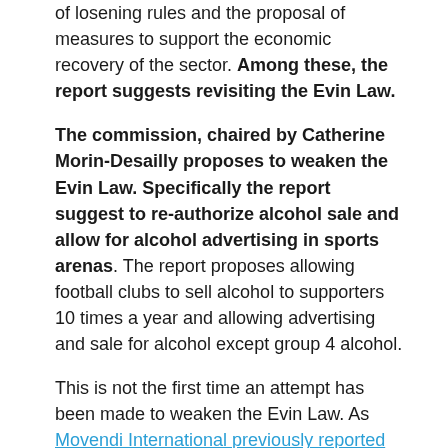of losening rules and the proposal of measures to support the economic recovery of the sector. Among these, the report suggests revisiting the Evin Law.
The commission, chaired by Catherine Morin-Desailly proposes to weaken the Evin Law. Specifically the report suggest to re-authorize alcohol sale and allow for alcohol advertising in sports arenas. The report proposes allowing football clubs to sell alcohol to supporters 10 times a year and allowing advertising and sale for alcohol except group 4 alcohol.
This is not the first time an attempt has been made to weaken the Evin Law. As Movendi International previously reported in August 2019,